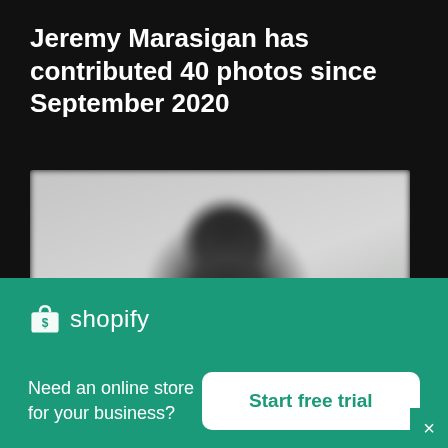Jeremy Marasigan has contributed 40 photos since September 2020
[Figure (photo): Blurred portrait of a person (Jeremy Marasigan), close-up shot with light gray background, subject appears thoughtful with hand near chin]
[Figure (logo): Shopify logo — shopping bag icon with 'shopify' text in white on teal/green background]
Need an online store for your business?
Start free trial